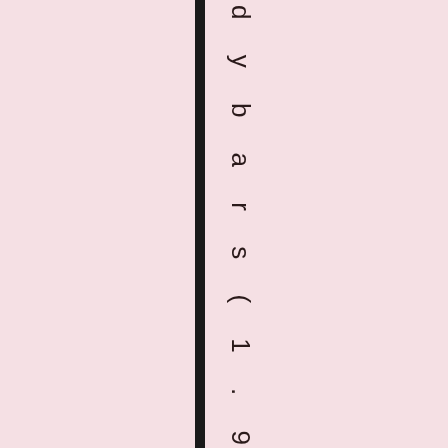d y b a r s ( 1 . 9 o z e a c h ) , c o a